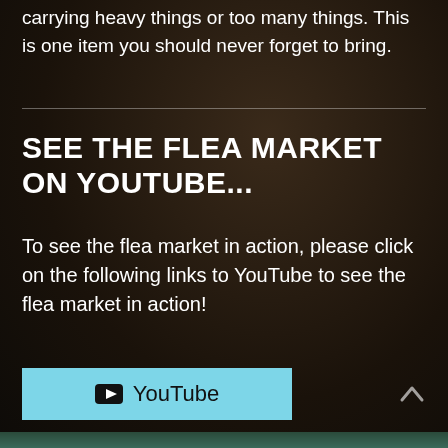carrying heavy things or too many things. This is one item you should never forget to bring.
SEE THE FLEA MARKET ON YOUTUBE...
To see the flea market in action, please click on the following links to YouTube to see the flea market in action!
[Figure (other): YouTube button link in light blue with YouTube play icon and text 'YouTube']